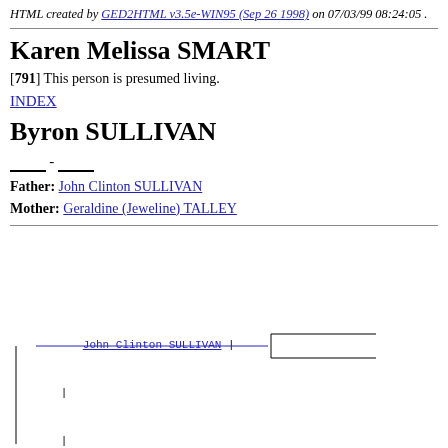HTML created by GED2HTML v3.5e-WIN95 (Sep 26 1998) on 07/03/99 08:24:05 .
Karen Melissa SMART
[791] This person is presumed living.
INDEX
Byron SULLIVAN
____ - ____
Father: John Clinton SULLIVAN
Mother: Geraldine (Jeweline) TALLEY
[Figure (other): Genealogy tree diagram showing Byron SULLIVAN with parents John Clinton SULLIVAN and Harvey TALLEY branch]